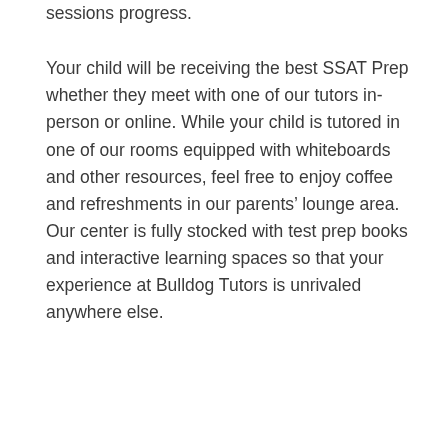sessions progress.

Your child will be receiving the best SSAT Prep whether they meet with one of our tutors in-person or online. While your child is tutored in one of our rooms equipped with whiteboards and other resources, feel free to enjoy coffee and refreshments in our parents’ lounge area. Our center is fully stocked with test prep books and interactive learning spaces so that your experience at Bulldog Tutors is unrivaled anywhere else.